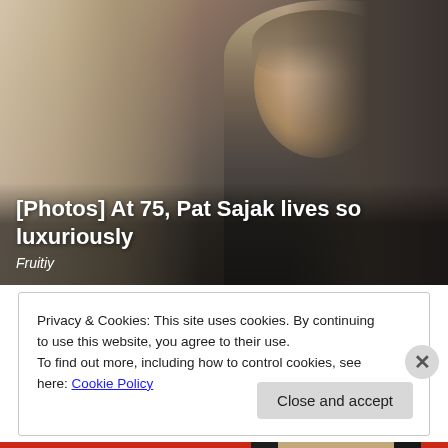[Figure (photo): Photo of a man in a suit and tie (Pat Sajak) with text overlay at bottom showing article title and source]
[Photos] At 75, Pat Sajak lives so luxuriously
Fruitiy
Privacy & Cookies: This site uses cookies. By continuing to use this website, you agree to their use.
To find out more, including how to control cookies, see here: Cookie Policy